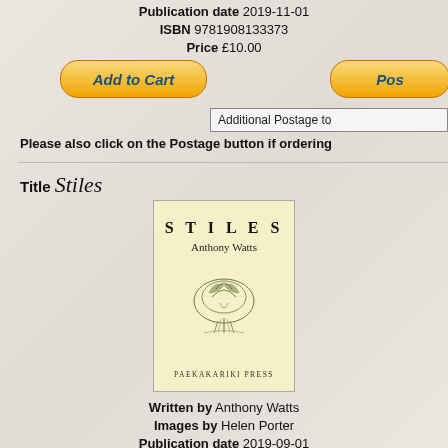Publication date 2019-11-01
ISBN 9781908133373
Price £10.00
[Figure (other): Add to Cart button (orange gradient pill-shaped button with bold italic blue text)]
[Figure (other): Postage button (orange gradient pill-shaped button, partially cropped)]
Additional Postage to
Please also click on the Postage button if ordering
Title Stiles
[Figure (illustration): Book cover for 'Stiles' by Anthony Watts, published by Paekakariki Press. Pale yellow cover with title 'STILES' in spaced serif capitals, author name 'Anthony Watts', a botanical sketch illustration in the center, and 'PAEKAKARIKI PRESS' at the bottom.]
Written by Anthony Watts
Images by Helen Porter
Publication date 2019-09-01